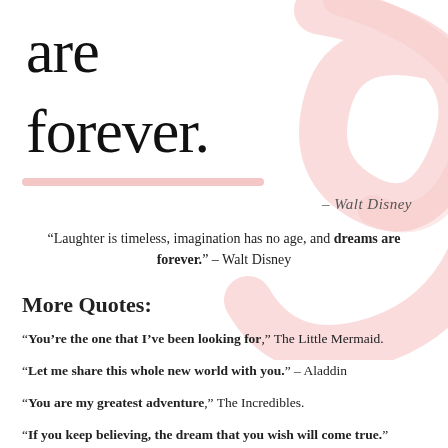[Figure (illustration): Pink decorative swirl/ribbon watermark in the upper-right background area]
are
forever.
– Walt Disney
“Laughter is timeless, imagination has no age, and dreams are forever.” – Walt Disney
More Quotes:
“You’re the one that I’ve been looking for,” The Little Mermaid.
“Let me share this whole new world with you.” – Aladdin
“You are my greatest adventure,” The Incredibles.
“If you keep believing, the dream that you wish will come true.”